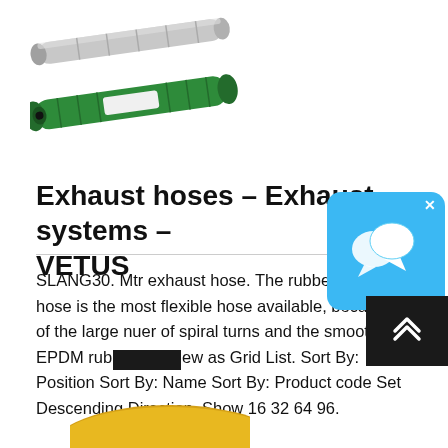[Figure (photo): Two VETUS exhaust hoses: one silver/gray metal tube on top, one green rubber hose below, both shown at an angle on white background]
Exhaust hoses – Exhaust systems – VETUS
SLANG30. Mtr exhaust hose. The rubber exhaust hose is the most flexible hose available, because of the large nuer of spiral turns and the smooth EPDM rub... ew as Grid List. Sort By: Position Sort By: Name Sort By: Product code Set Descending Direction. Show 16 32 64 96.
[Figure (screenshot): Chat widget (blue speech bubble icon) with X close button in top-right corner]
[Figure (other): Black scroll-to-top button with double chevron up arrows]
[Figure (photo): Bottom portion of a yellow/gold exhaust hose partially visible at bottom of page]